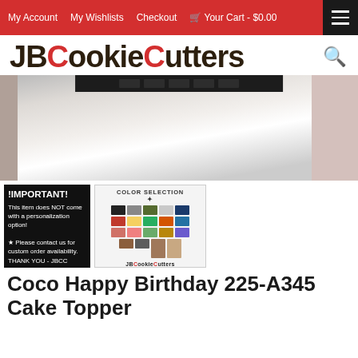My Account   My Wishlists   Checkout   🛒 Your Cart - $0.00
JBCookieCutters
[Figure (photo): Large product photo of a Coco Happy Birthday cake topper, showing a white rectangular cake topper with dark text at the top, with a pink/beige background]
[Figure (photo): IMPORTANT! This item does NOT come with a personalization option! Please contact us for custom order availability. THANK YOU - JBCC TEAM]
[Figure (photo): Color selection chart showing a grid of color swatches with JBCookieCutters logo at the bottom]
Coco Happy Birthday 225-A345 Cake Topper